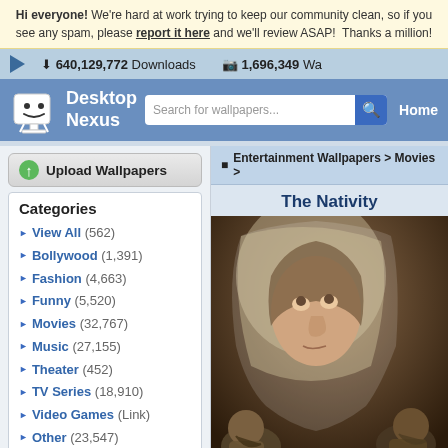Hi everyone! We're hard at work trying to keep our community clean, so if you see any spam, please report it here and we'll review ASAP! Thanks a million!
640,129,772 Downloads   1,696,349 Wa...
Desktop Nexus
Search for wallpapers...  Home
Upload Wallpapers
Entertainment Wallpapers > Movies >
Categories
View All (562)
Bollywood (1,391)
Fashion (4,663)
Funny (5,520)
Movies (32,767)
Music (27,155)
Theater (452)
TV Series (18,910)
Video Games (Link)
Other (23,547)
Downloads: 640,129,772
Entertainment Walls: 83,864
All Wallpapers: 1,696,349
Tag Count: 9,948,936
The Nativity
[Figure (photo): Movie poster/wallpaper for The Nativity, showing a young woman with a head covering looking upward, with other figures in the background]